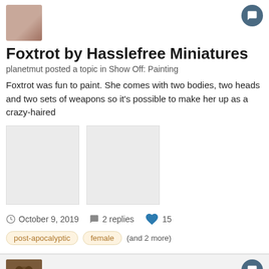[Figure (photo): Small avatar thumbnail of a person (partial, cropped) in top-left]
Foxtrot by Hasslefree Miniatures
planetmut posted a topic in Show Off: Painting
Foxtrot was fun to paint. She comes with two bodies, two heads and two sets of weapons so it's possible to make her up as a crazy-haired
[Figure (photo): Two light gray placeholder image thumbnails side by side]
October 9, 2019   2 replies   15
post-apocalyptic   female   (and 2 more)
[Figure (photo): Avatar of a dog (brown/chocolate, smiling) for the second post]
Rose by Hasslefree Miniatures
planetmut posted a topic in Show Off: Painting
There's a patch of wasteground on Beechwood Avenue where the old